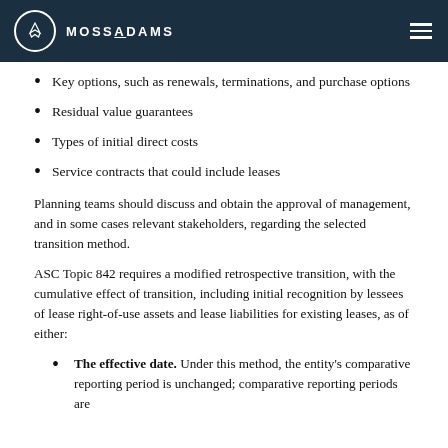MOSSADAMS
Key options, such as renewals, terminations, and purchase options
Residual value guarantees
Types of initial direct costs
Service contracts that could include leases
Planning teams should discuss and obtain the approval of management, and in some cases relevant stakeholders, regarding the selected transition method.
ASC Topic 842 requires a modified retrospective transition, with the cumulative effect of transition, including initial recognition by lessees of lease right-of-use assets and lease liabilities for existing leases, as of either:
The effective date. Under this method, the entity's comparative reporting period is unchanged; comparative reporting periods are